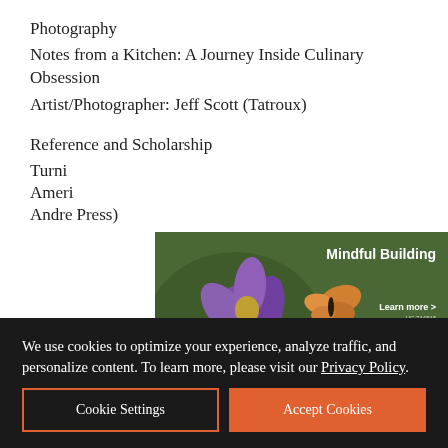Photography
Notes from a Kitchen: A Journey Inside Culinary Obsession
Artist/Photographer: Jeff Scott (Tatroux)
Reference and Scholarship
Turni[ng...] Ameri[ca...] Andre[...Press)
[Figure (advertisement): Earthtone Construction advertisement with purple flowers and a butterfly, text reads 'Mindful Building', 'Earthtone CONSTRUCTION', 'Learn more >', 'UC.744848']
We use cookies to optimize your experience, analyze traffic, and personalize content. To learn more, please visit our Privacy Policy.
Cookie Settings
Accept Cookies